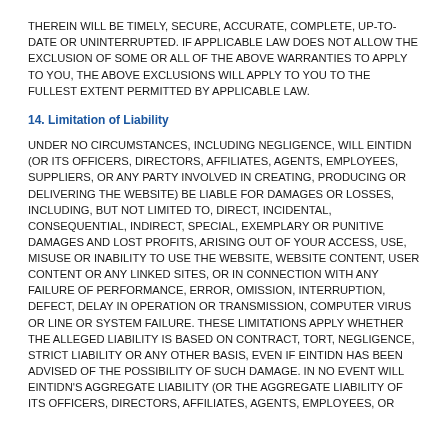THEREIN WILL BE TIMELY, SECURE, ACCURATE, COMPLETE, UP-TO-DATE OR UNINTERRUPTED. IF APPLICABLE LAW DOES NOT ALLOW THE EXCLUSION OF SOME OR ALL OF THE ABOVE WARRANTIES TO APPLY TO YOU, THE ABOVE EXCLUSIONS WILL APPLY TO YOU TO THE FULLEST EXTENT PERMITTED BY APPLICABLE LAW.
14. Limitation of Liability
UNDER NO CIRCUMSTANCES, INCLUDING NEGLIGENCE, WILL EINTIDN (OR ITS OFFICERS, DIRECTORS, AFFILIATES, AGENTS, EMPLOYEES, SUPPLIERS, OR ANY PARTY INVOLVED IN CREATING, PRODUCING OR DELIVERING THE WEBSITE) BE LIABLE FOR DAMAGES OR LOSSES, INCLUDING, BUT NOT LIMITED TO, DIRECT, INCIDENTAL, CONSEQUENTIAL, INDIRECT, SPECIAL, EXEMPLARY OR PUNITIVE DAMAGES AND LOST PROFITS, ARISING OUT OF YOUR ACCESS, USE, MISUSE OR INABILITY TO USE THE WEBSITE, WEBSITE CONTENT, USER CONTENT OR ANY LINKED SITES, OR IN CONNECTION WITH ANY FAILURE OF PERFORMANCE, ERROR, OMISSION, INTERRUPTION, DEFECT, DELAY IN OPERATION OR TRANSMISSION, COMPUTER VIRUS OR LINE OR SYSTEM FAILURE. THESE LIMITATIONS APPLY WHETHER THE ALLEGED LIABILITY IS BASED ON CONTRACT, TORT, NEGLIGENCE, STRICT LIABILITY OR ANY OTHER BASIS, EVEN IF EINTIDN HAS BEEN ADVISED OF THE POSSIBILITY OF SUCH DAMAGE. IN NO EVENT WILL EINTIDN'S AGGREGATE LIABILITY (OR THE AGGREGATE LIABILITY OF ITS OFFICERS, DIRECTORS, AFFILIATES, AGENTS, EMPLOYEES, OR